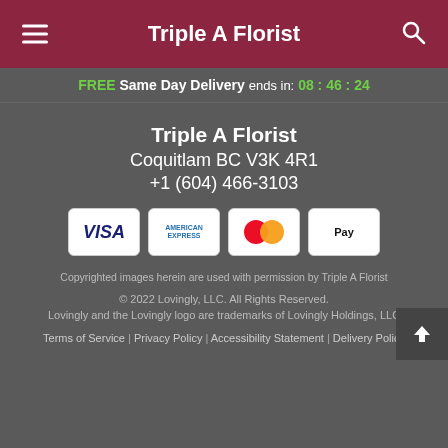Triple A Florist
FREE Same Day Delivery ends in: 08 : 46 : 24
Triple A Florist
Coquitlam BC V3K 4R1
+1 (604) 466-3103
[Figure (logo): Payment method logos: Visa, American Express, Mastercard, Apple Pay]
Copyrighted images herein are used with permission by Triple A Florist
© 2022 Lovingly, LLC. All Rights Reserved. Lovingly and the Lovingly logo are trademarks of Lovingly Holdings, LLC
Terms of Service | Privacy Policy | Accessibility Statement | Delivery Policy